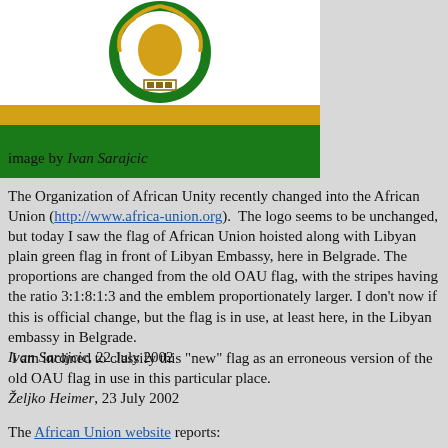[Figure (illustration): African Union flag with emblem (gold African continent on green circular wreath on white background), gold stripe, and green stripe]
image by Ivan Sarajcic
The Organization of African Unity recently changed into the African Union (http://www.africa-union.org).  The logo seems to be unchanged, but today I saw the flag of African Union hoisted along with Libyan plain green flag in front of Libyan Embassy, here in Belgrade. The proportions are changed from the old OAU flag, with the stripes having the ratio 3:1:8:1:3 and the emblem proportionately larger. I don't now if this is official change, but the flag is in use, at least here, in the Libyan embassy in Belgrade. Ivan Sarajcic, 22 July 2002
I am inclined to classify this "new" flag as an erroneous version of the old OAU flag in use in this particular place. Željko Heimer, 23 July 2002
The African Union website reports: